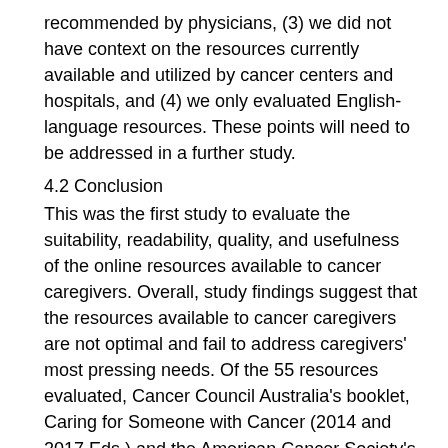recommended by physicians, (3) we did not have context on the resources currently available and utilized by cancer centers and hospitals, and (4) we only evaluated English-language resources. These points will need to be addressed in a further study.
4.2 Conclusion
This was the first study to evaluate the suitability, readability, quality, and usefulness of the online resources available to cancer caregivers. Overall, study findings suggest that the resources available to cancer caregivers are not optimal and fail to address caregivers' most pressing needs. Of the 55 resources evaluated, Cancer Council Australia's booklet, Caring for Someone with Cancer (2014 and 2017 Eds.) and the American Cancer Society's webpages, Caregivers and Families, ranked top three in two of the three assessment categories.
4.3 Practice Implications
With the shift in the acquisition of health information from print to online resources, publicly available resources